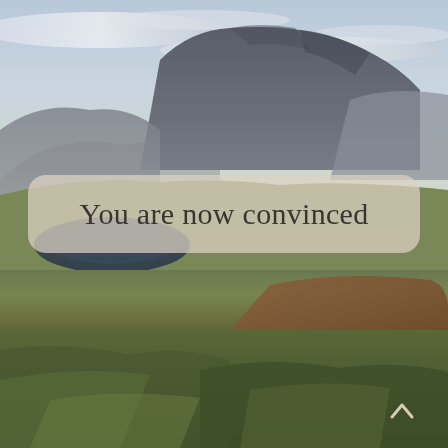[Figure (photo): Landscape photograph of a Scottish Highland scene: rugged mountain (Suilven or similar quartzite peak) in the background under a pale blue sky, with a small dark loch/tarn in the middle distance, surrounded by moorland vegetation in autumn colours — greens, russets, and browns in the foreground.]
You are now convinced